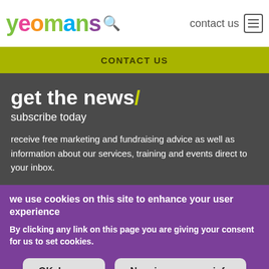yeomans contact us
CONTACT US
get the news /
subscribe today
receive free marketing and fundraising advice as well as information about our services, training and events direct to your inbox.
we use cookies on this site to enhance your user experience
By clicking any link on this page you are giving your consent for us to set cookies.
OK, I agree
No, give me more info